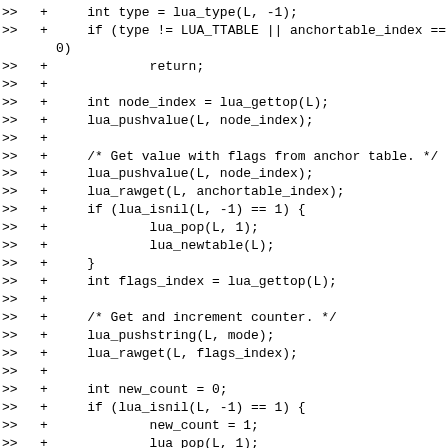Code diff showing Lua C API integration code including anchor table lookup, flag retrieval, and counter increment logic.